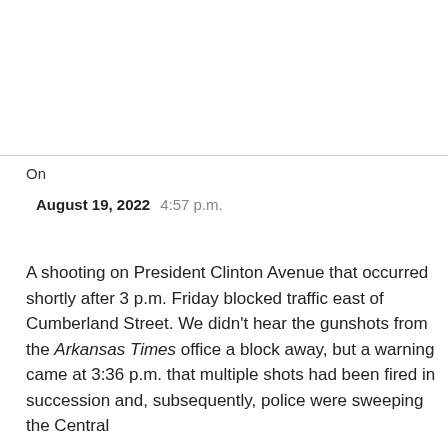On
August 19, 2022  4:57 p.m.
A shooting on President Clinton Avenue that occurred shortly after 3 p.m. Friday blocked traffic east of Cumberland Street. We didn't hear the gunshots from the Arkansas Times office a block away, but a warning came at 3:36 p.m. that multiple shots had been fired in succession and, subsequently, police were sweeping the Central